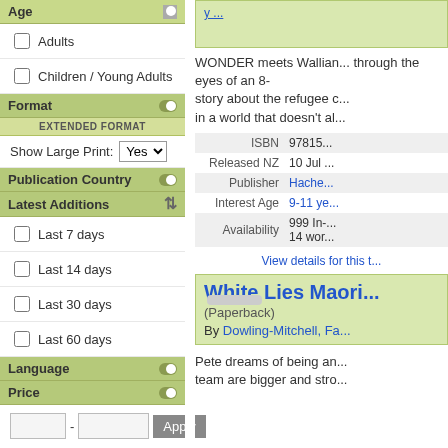Age
Adults
Children / Young Adults
Format
EXTENDED FORMAT
Show Large Print: Yes
Publication Country
Latest Additions
Last 7 days
Last 14 days
Last 30 days
Last 60 days
Language
Price
WONDER meets Wallian... through the eyes of an 8-... story about the refugee c... in a world that doesn't al...
| Field | Value |
| --- | --- |
| ISBN | 97815... |
| Released NZ | 10 Jul ... |
| Publisher | Hache... |
| Interest Age | 9-11 ye... |
| Availability | 999 In-... 14 wor... |
View details for this t...
White Lies Maori...
(Paperback)
By Dowling-Mitchell, Fa...
Pete dreams of being an... team are bigger and stro...